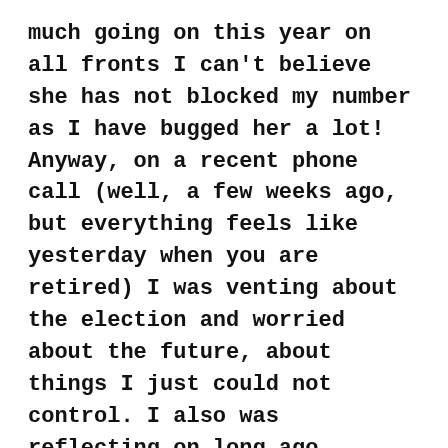much going on this year on all fronts I can't believe she has not blocked my number as I have bugged her a lot! Anyway, on a recent phone call (well, a few weeks ago, but everything feels like yesterday when you are retired) I was venting about the election and worried about the future, about things I just could not control. I also was reflecting on long ago, decisions made, wondering if I made the right ones. I was in a tizzy!
As per her usual simple yet brilliant Chellie-style, she shared something her mom (or her grandmother, ugh, this memory of mine) once shared, that she thought might help me chill